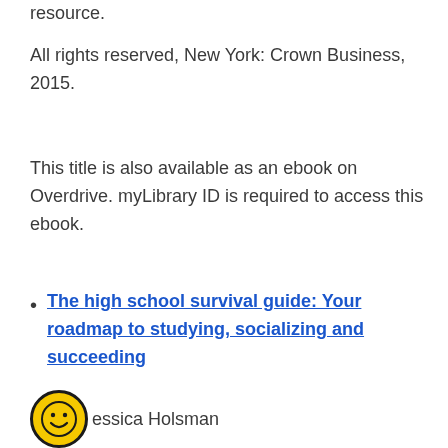resource.
All rights reserved, New York: Crown Business, 2015.
This title is also available as an ebook on Overdrive. myLibrary ID is required to access this ebook.
The high school survival guide: Your roadmap to studying, socializing and succeeding
Jessica Holsman